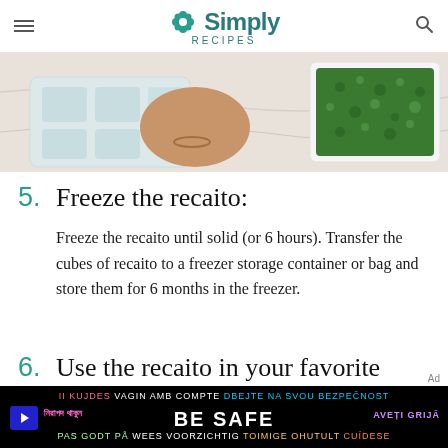Simply Recipes
[Figure (photo): Top-down view of a hand holding an ice cube tray over a marble surface, with a white container of frozen green herb mixture (recaito) visible on the right.]
5. Freeze the recaito: Freeze the recaito until solid (or 6 hours). Transfer the cubes of recaito to a freezer storage container or bag and store them for 6 months in the freezer.
6. Use the recaito in your favorite dishes:
[Figure (other): BE SAFE multilingual safety advertisement banner in black background with colored text in multiple languages.]